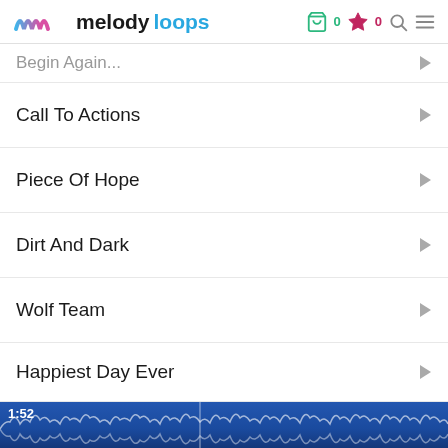melodyloops — header with cart (0), favorites (0), search, menu icons
Begin Again
Call To Actions
Piece Of Hope
Dirt And Dark
Wolf Team
Happiest Day Ever
[Figure (other): Audio waveform player showing 1:52 timestamp on blue background with white waveform visualization]
Bottom playback controls: repeat, skip-back, play, skip-forward, star, options, options